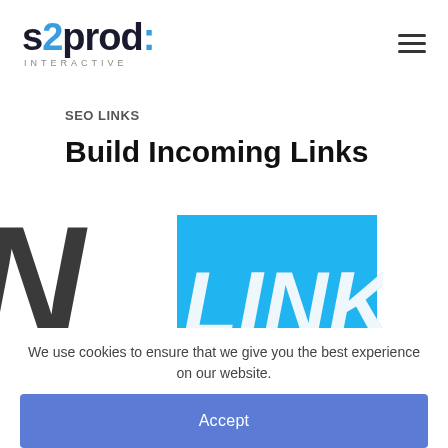[Figure (logo): s2prod interactive logo with blue '2' and blue colon dots, hamburger menu icon top right]
SEO LINKS
Build Incoming Links
[Figure (screenshot): Partial image strip showing 'IN LINKS' text logo in dark and blue colors, and a hand-drawn sun illustration on the right]
We use cookies to ensure that we give you the best experience on our website.
Accept